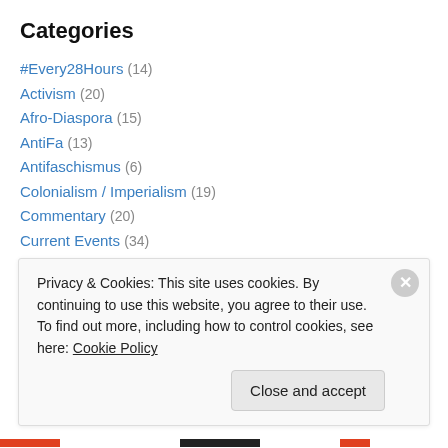Categories
#Every28Hours (14)
Activism (20)
Afro-Diaspora (15)
AntiFa (13)
Antifaschismus (6)
Colonialism / Imperialism (19)
Commentary (20)
Current Events (34)
Economics (1)
Human Rights (18)
Indigenismo / Indigenism (5)
Privacy & Cookies: This site uses cookies. By continuing to use this website, you agree to their use.
To find out more, including how to control cookies, see here: Cookie Policy
Close and accept